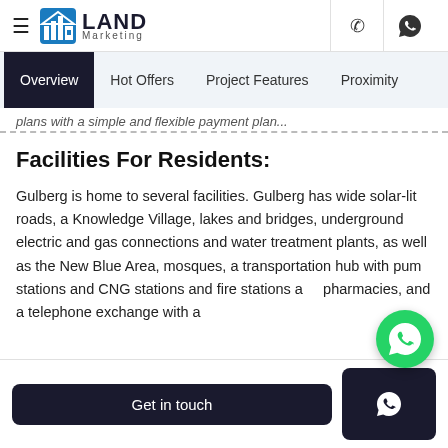LAND Marketing
Overview | Hot Offers | Project Features | Proximity
plans with a simple and flexible payment plan...
Facilities For Residents:
Gulberg is home to several facilities. Gulberg has wide solar-lit roads, a Knowledge Village, lakes and bridges, underground electric and gas connections and water treatment plants, as well as the New Blue Area, mosques, a transportation hub with pump stations and CNG stations and fire stations and pharmacies, and a telephone exchange with an
Get in touch